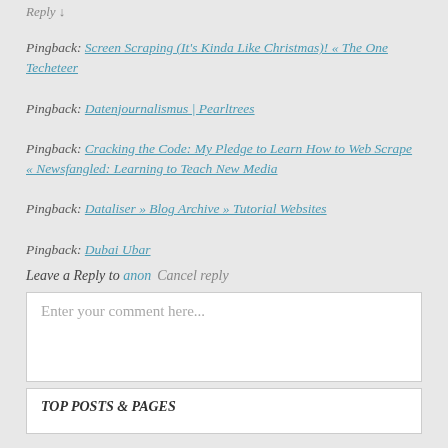Reply ↓
Pingback: Screen Scraping (It's Kinda Like Christmas)! « The One Techeteer
Pingback: Datenjournalismus | Pearltrees
Pingback: Cracking the Code: My Pledge to Learn How to Web Scrape « Newsfangled: Learning to Teach New Media
Pingback: Dataliser » Blog Archive » Tutorial Websites
Pingback: Dubai Ubar
Leave a Reply to anon  Cancel reply
Enter your comment here...
TOP POSTS & PAGES